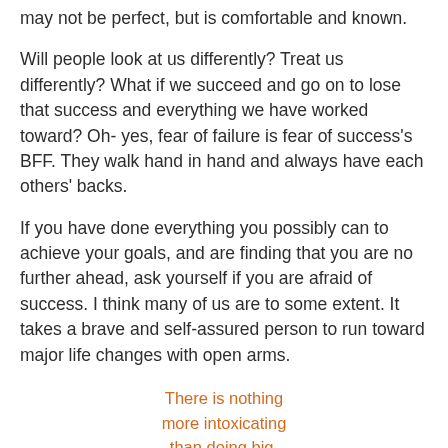may not be perfect, but is comfortable and known.
Will people look at us differently? Treat us differently? What if we succeed and go on to lose that success and everything we have worked toward? Oh- yes, fear of failure is fear of success's BFF. They walk hand in hand and always have each others' backs.
If you have done everything you possibly can to achieve your goals, and are finding that you are no further ahead, ask yourself if you are afraid of success. I think many of us are to some extent. It takes a brave and self-assured person to run toward major life changes with open arms.
There is nothing more intoxicating than doing big, bold and beautiful things. Don't fear.